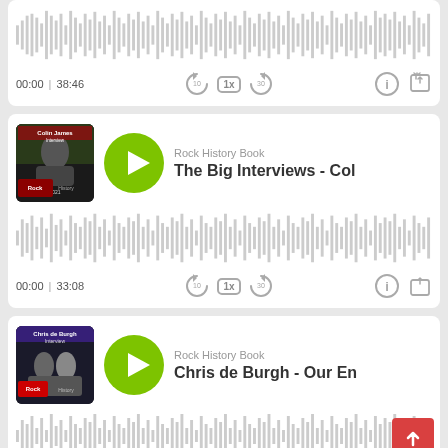[Figure (other): Podcast audio player - top partial card showing waveform and controls. Time: 00:00 | 38:46. Controls: rewind 10s, 1x speed, forward 30s, info, share.]
[Figure (other): Podcast episode card: Rock History Book - The Big Interviews - Co[lin James]. Thumbnail with Colin James Interview 2021 art. Green play button. Waveform. Controls: 00:00 | 33:08, rewind 10, 1x speed, forward 30, info, share.]
[Figure (other): Podcast episode card: Rock History Book - Chris de Burgh - Our En[tire Interview]. Thumbnail with Chris de Burgh Interview art. Green play button. Partial waveform visible. Scroll-to-top red button.]